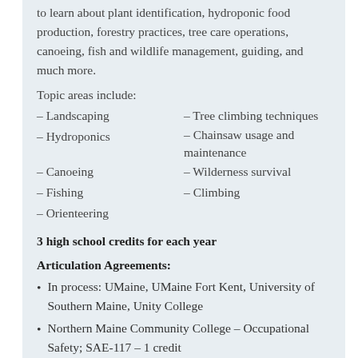to learn about plant identification, hydroponic food production, forestry practices, tree care operations, canoeing, fish and wildlife management, guiding, and much more.
Topic areas include:
– Landscaping
– Tree climbing techniques
– Hydroponics
– Chainsaw usage and maintenance
– Canoeing
– Wilderness survival
– Fishing
– Climbing
– Orienteering
3 high school credits for each year
Articulation Agreements:
In process: UMaine, UMaine Fort Kent, University of Southern Maine, Unity College
Northern Maine Community College – Occupational Safety; SAE-117 – 1 credit